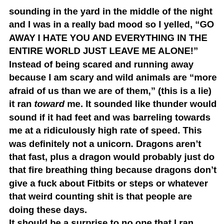sounding in the yard in the middle of the night and I was in a really bad mood so I yelled, “GO AWAY I HATE YOU AND EVERYTHING IN THE ENTIRE WORLD JUST LEAVE ME ALONE!” Instead of being scared and running away because I am scary and wild animals are “more afraid of us than we are of them,” (this is a lie) it ran toward me. It sounded like thunder would sound if it had feet and was barreling towards me at a ridiculously high rate of speed. This was definitely not a unicorn. Dragons aren’t that fast, plus a dragon would probably just do that fire breathing thing because dragons don’t give a fuck about Fitbits or steps or whatever that weird counting shit is that people are doing these days.
It should be a surprise to no one that I ran.
I didn’t bother with my husband because he